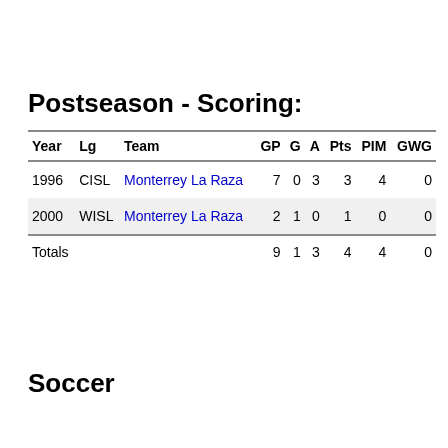Postseason - Scoring:
| Year | Lg | Team | GP | G | A | Pts | PIM | GWG |
| --- | --- | --- | --- | --- | --- | --- | --- | --- |
| 1996 | CISL | Monterrey La Raza | 7 | 0 | 3 | 3 | 4 | 0 |
| 2000 | WISL | Monterrey La Raza | 2 | 1 | 0 | 1 | 0 | 0 |
| Totals |  |  | 9 | 1 | 3 | 4 | 4 | 0 |
Soccer